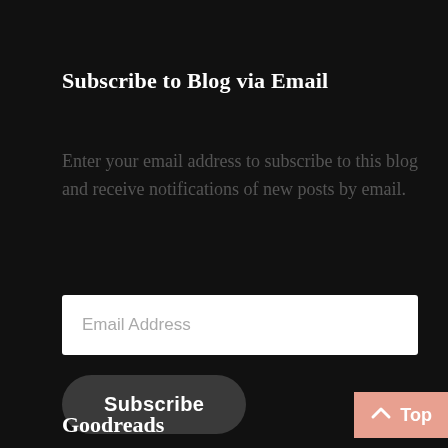Subscribe to Blog via Email
Enter your email address to subscribe to this blog and receive notifications of new posts by email.
[Figure (screenshot): Email address input field with placeholder text 'Email Address' on white background]
[Figure (screenshot): Dark rounded Subscribe button]
Goodreads
[Figure (screenshot): Pink 'Top' button with upward arrow in bottom right corner]